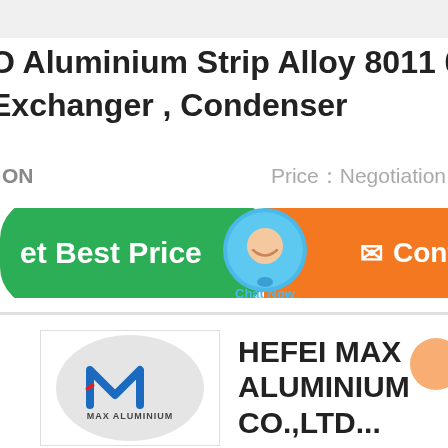O Aluminium Strip Alloy 8011 0.3 Exchanger , Condenser
ON   Price：Negotiation
[Figure (screenshot): Green 'Get Best Price' button, blue chat bubble icon with 'Chat Now' label, and orange 'Contact' button]
[Figure (logo): HEFEI MAX ALUMINIUM CO.,LTD company logo — circular grey background with blue M logo and red accent, text MAX ALUMINIUM below]
HEFEI MAX ALUMINIUM CO.,LTD...